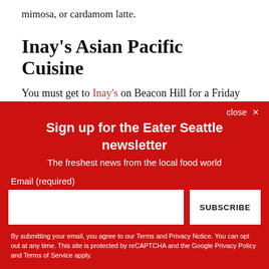mimosa, or cardamom latte.
Inay's Asian Pacific Cuisine
You must get to Inay's on Beacon Hill for a Friday night drag show and dinner, and you must do so as soon as humanly possible. That's because this wonderfully bizarre gem will discontinue after the restaurant closes its doors at the end of January, leaving you few opportunities to experience the
close ✕
Sign up for the Eater Seattle newsletter
The freshest news from the local food world
Email (required)
SUBSCRIBE
By submitting your email, you agree to our Terms and Privacy Notice. You can opt out at any time. This site is protected by reCAPTCHA and the Google Privacy Policy and Terms of Service apply.